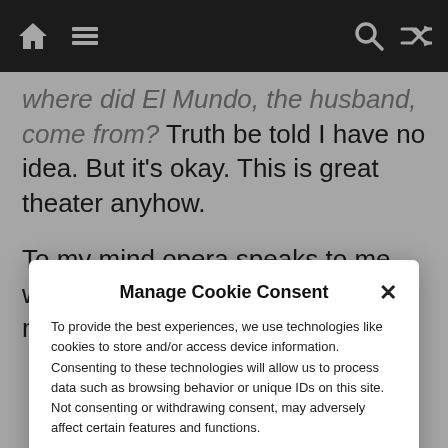Navigation bar with home, menu, search, and shuffle icons
where did El Mundo, the husband, come from? Truth be told I have no idea. But it’s okay. This is great theater anyhow.
To my mind opera speaks to me with sublime voices. Classical music speaks to me with musical instruments. Ballet speaks with body movement.
Manage Cookie Consent
To provide the best experiences, we use technologies like cookies to store and/or access device information. Consenting to these technologies will allow us to process data such as browsing behavior or unique IDs on this site. Not consenting or withdrawing consent, may adversely affect certain features and functions.
Accept
Cookie Policy